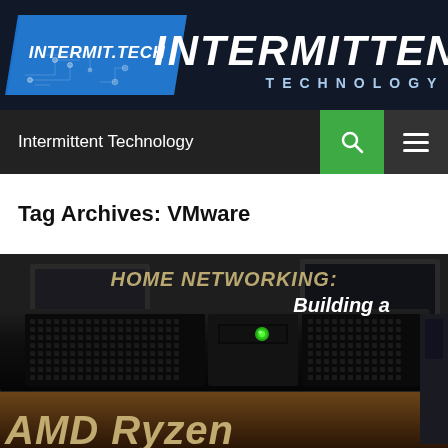[Figure (logo): Intermit.Tech / Intermittent Technology website logo banner on dark navy background. Blue parallelogram badge with INTERMIT.TECH text and circuit board graphics, followed by large white italic INTERMITTENT TECHNOLOGY text.]
Intermittent Technology
Tag Archives: VMware
[Figure (photo): Photo of a 2U rack server (black chassis with ventilation grille and green LED) on a desk surface, overlaid with text: HOME NETWORKING: Building a AMD Ryzen]